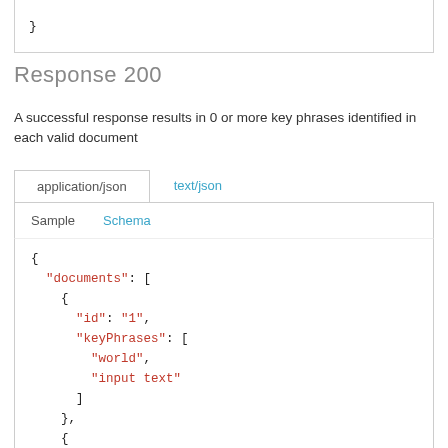}
Response 200
A successful response results in 0 or more key phrases identified in each valid document
application/json | text/json tabs, Sample / Schema sub-tabs, then JSON code block showing documents array with id 1, keyPhrases [world, input text], then id 2...